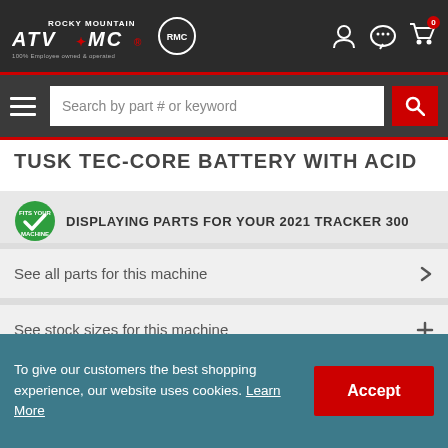Rocky Mountain ATV MC — 100% Employee owned & operated
TUSK TEC-CORE BATTERY WITH ACID
DISPLAYING PARTS FOR YOUR 2021 TRACKER 300
See all parts for this machine
See stock sizes for this machine
Change or remove machine
$46.99
MSRP: $59.99 - You save $13.00 (22% off)
To give our customers the best shopping experience, our website uses cookies. Learn More